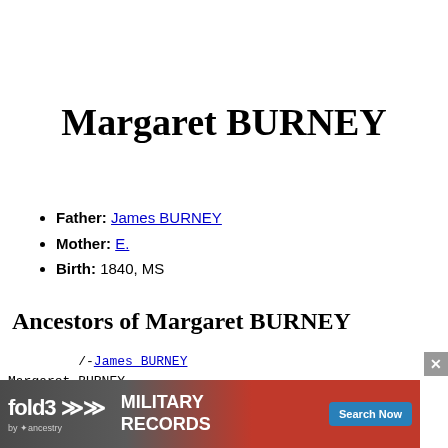Margaret BURNEY
Father: James BURNEY
Mother: E.
Birth: 1840, MS
Ancestors of Margaret BURNEY
/-James BURNEY
Margaret BURNEY
  \-E.
[Figure (other): Fold3 military records advertisement banner with Search Now button]